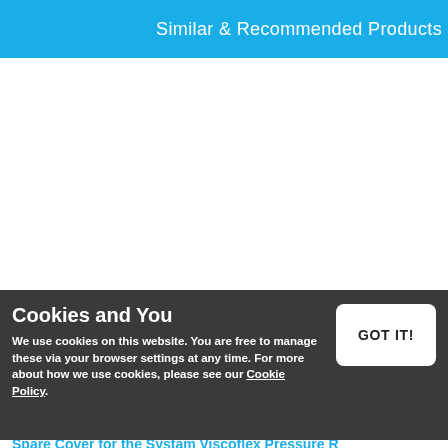Similar & Recommended Products
[Figure (other): White empty content area for product listings]
Cookies and You
GOT IT!
We use cookies on this website. You are free to manage these via your browser settings at any time. For more about how we use cookies, please see our Cookie Policy.
Spare Cover for the Systam Viscoflex Pressure R